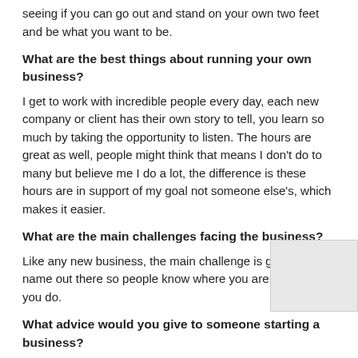seeing if you can go out and stand on your own two feet and be what you want to be.
What are the best things about running your own business?
I get to work with incredible people every day, each new company or client has their own story to tell, you learn so much by taking the opportunity to listen. The hours are great as well, people might think that means I don't do to many but believe me I do a lot, the difference is these hours are in support of my goal not someone else's, which makes it easier.
What are the main challenges facing the business?
Like any new business, the main challenge is getting your name out there so people know where you are and what you do.
What advice would you give to someone starting a business?
My advice would be to ask people who have started their own